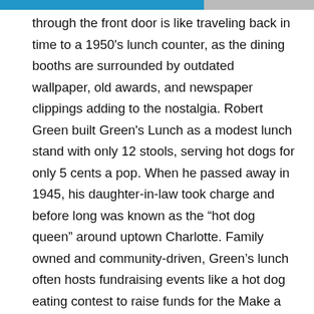through the front door is like traveling back in time to a 1950's lunch counter, as the dining booths are surrounded by outdated wallpaper, old awards, and newspaper clippings adding to the nostalgia. Robert Green built Green's Lunch as a modest lunch stand with only 12 stools, serving hot dogs for only 5 cents a pop. When he passed away in 1945, his daughter-in-law took charge and before long was known as the “hot dog queen” around uptown Charlotte. Family owned and community-driven, Green’s lunch often hosts fundraising events like a hot dog eating contest to raise funds for the Make a Wish Foundation, and in 2016, were able to grant wishes for two children in the Charlotte area. On the Sundays of Carolina Panther’s home games, you will find quite the crowd at Green’s Lunch for a traditional good luck hot dog!